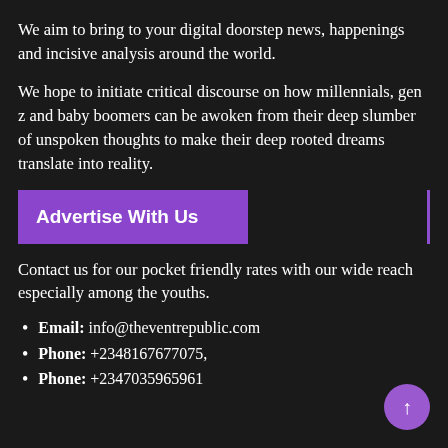We aim to bring to your digital doorstep news, happenings and incisive analysis around the world.
We hope to initiate critical discourse on how millennials, gen z and baby boomers can be awoken from their deep slumber of unspoken thoughts to make their deep rooted dreams translate into reality.
Advertise With Us
Contact us for our pocket friendly rates with our wide reach especially among the youths.
Email: info@theventrepublic.com
Phone: +2348167677075,
Phone: +2347035965961